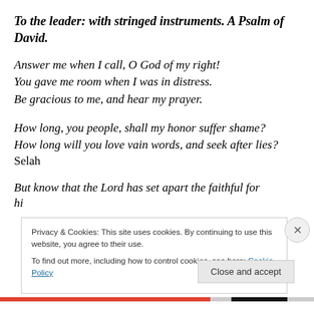To the leader: with stringed instruments. A Psalm of David.
Answer me when I call, O God of my right!
You gave me room when I was in distress.
Be gracious to me, and hear my prayer.
How long, you people, shall my honor suffer shame?
How long will you love vain words, and seek after lies?
Selah
But know that the Lord has set apart the faithful for himself
Privacy & Cookies: This site uses cookies. By continuing to use this website, you agree to their use.
To find out more, including how to control cookies, see here: Cookie Policy